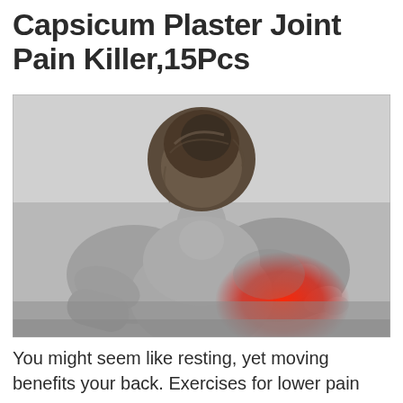Capsicum Plaster Joint Pain Killer,15Pcs
[Figure (photo): Black and white photo of a woman seen from behind with her hair in a bun, reaching her right hand to her left shoulder. A red area highlights the shoulder joint area indicating pain.]
You might seem like resting, yet moving benefits your back. Exercises for lower pain in the back are safe for the most part...